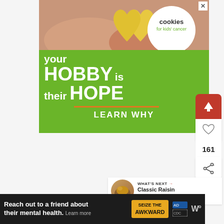[Figure (infographic): Advertisement for Cookies for Kids Cancer charity. Green background with hands holding a heart-shaped cookie. Text: 'your HOBBY is their HOPE — LEARN WHY'. Circular white logo reads 'cookies for kids' cancer'.]
[Figure (infographic): Sidebar UI buttons: red upload/arrow-up button, heart/like button, count '161', and share button.]
[Figure (infographic): WHAT'S NEXT panel with thumbnail image and text 'Classic Raisin Scones']
We'd love to hear from you and
[Figure (infographic): Bottom advertisement banner: 'Reach out to a friend about their mental health. Learn more' with 'SEIZE THE AWKWARD' yellow button and logos.]